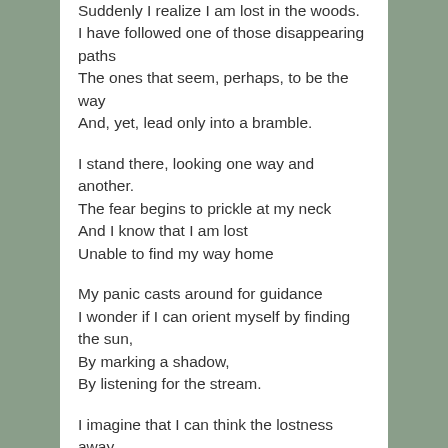Suddenly I realize I am lost in the woods.
I have followed one of those disappearing paths
The ones that seem, perhaps, to be the way
And, yet, lead only into a bramble.
I stand there, looking one way and another.
The fear begins to prickle at my neck
And I know that I am lost
Unable to find my way home
My panic casts around for guidance
I wonder if I can orient myself by finding the sun,
By marking a shadow,
By listening for the stream.
I imagine that I can think the lostness away
That I can retrace my steps
Or just expand the field of my vision